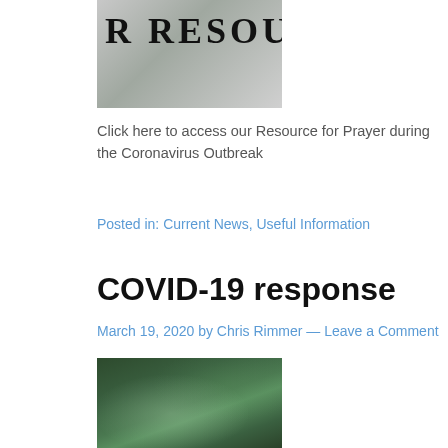[Figure (photo): Partially visible banner image with text 'R RESOU' visible, showing a person in background, partially cropped]
Click here to access our Resource for Prayer during the Coronavirus Outbreak
Posted in: Current News, Useful Information
COVID-19 response
March 19, 2020 by Chris Rimmer — Leave a Comment
[Figure (photo): Close-up photo of hands with water droplets, greenish background, related to COVID-19 handwashing]